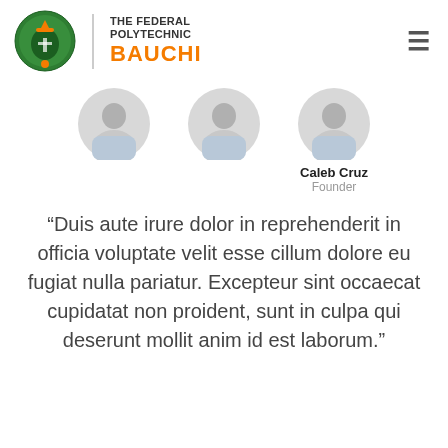THE FEDERAL POLYTECHNIC BAUCHI
[Figure (photo): Three circular avatar profile photos of people, partially cropped at top. The rightmost person is labeled Caleb Cruz, Founder.]
Caleb Cruz
Founder
“Duis aute irure dolor in reprehenderit in officia voluptate velit esse cillum dolore eu fugiat nulla pariatur. Excepteur sint occaecat cupidatat non proident, sunt in culpa qui deserunt mollit anim id est laborum.”